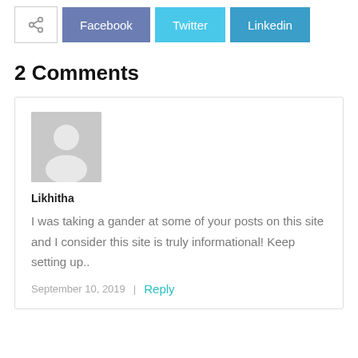[Figure (other): Social share bar with share icon, Facebook, Twitter, and Linkedin buttons]
2 Comments
[Figure (photo): Default grey avatar placeholder image for user Likhitha]
Likhitha
I was taking a gander at some of your posts on this site and I consider this site is truly informational! Keep setting up..
September 10, 2019  |  Reply